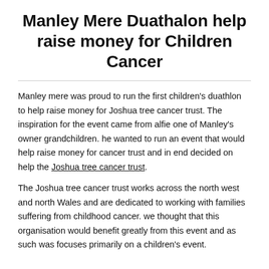Manley Mere Duathalon help raise money for Children Cancer
Manley mere was proud to run the first children's duathlon to help raise money for Joshua tree cancer trust. The inspiration for the event came from alfie one of Manley's owner grandchildren. he wanted to run an event that would help raise money for cancer trust and in end decided on help the Joshua tree cancer trust.
The Joshua tree cancer trust works across the north west and north Wales and are dedicated to working with families suffering from childhood cancer. we thought that this organisation would benefit greatly from this event and as such was focuses primarily on a children's event.